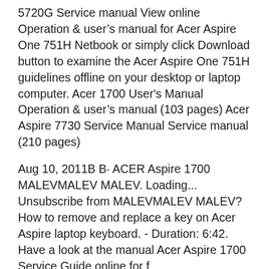5720G Service manual View online Operation & user's manual for Acer Aspire One 751H Netbook or simply click Download button to examine the Acer Aspire One 751H guidelines offline on your desktop or laptop computer. Acer 1700 User's Manual Operation & user's manual (103 pages) Acer Aspire 7730 Service Manual Service manual (210 pages)
Aug 10, 2011В В· ACER Aspire 1700 MALEVMALEV MALEV. Loading... Unsubscribe from MALEVMALEV MALEV? How to remove and replace a key on Acer Aspire laptop keyboard. - Duration: 6:42. Have a look at the manual Acer Aspire 1700 Service Guide online for f...